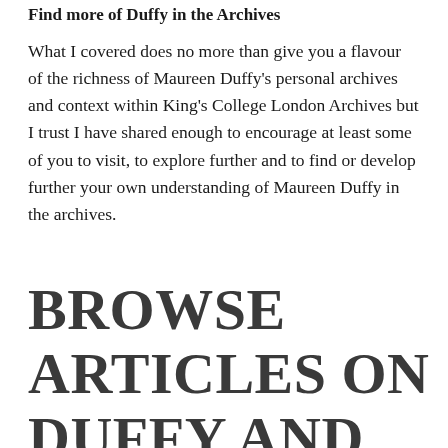Find more of Duffy in the Archives
What I covered does no more than give you a flavour of the richness of Maureen Duffy's personal archives and context within King's College London Archives but I trust I have shared enough to encourage at least some of you to visit, to explore further and to find or develop further your own understanding of Maureen Duffy in the archives.
BROWSE ARTICLES ON DUFFY AND KING'S